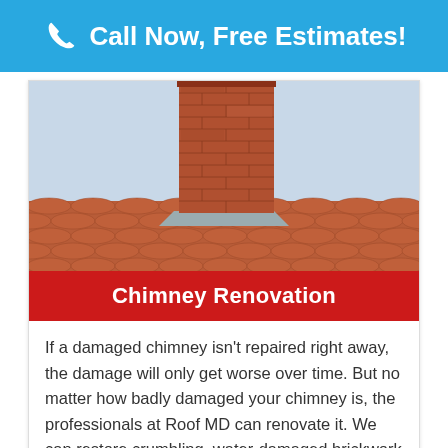Call Now, Free Estimates!
[Figure (photo): Photo of a brick chimney on a terracotta tile roof with flashing visible at the base of the chimney]
Chimney Renovation
If a damaged chimney isn't repaired right away, the damage will only get worse over time. But no matter how badly damaged your chimney is, the professionals at Roof MD can renovate it. We can restore crumbling, water-damaged brickwork and mortar, as well as any other damaged